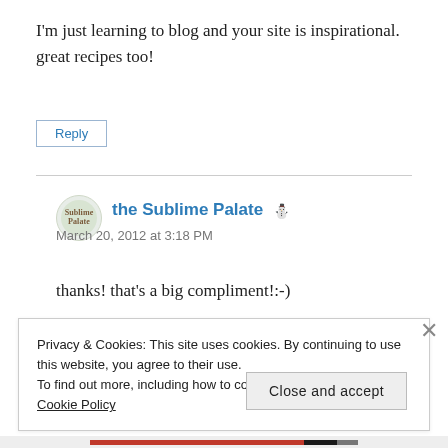I'm just learning to blog and your site is inspirational. great recipes too!
Reply
the Sublime Palate
March 20, 2012 at 3:18 PM
thanks! that's a big compliment!:-)
Privacy & Cookies: This site uses cookies. By continuing to use this website, you agree to their use. To find out more, including how to control cookies, see here: Cookie Policy
Close and accept